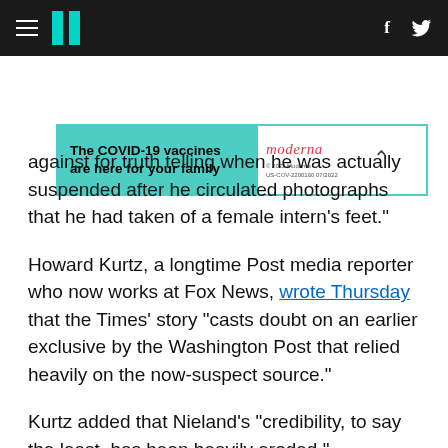HuffPost navigation bar with hamburger menu, logo, Facebook and Twitter icons
[Figure (other): Advertisement banner: 'The COVID-19 vaccines are here for your family' with Moderna logo, © 2022 Moderna, US-COV-2200160 07/2022]
against for truth telling when he was actually suspended after he circulated photographs that he had taken of a female intern's feet."
Howard Kurtz, a longtime Post media reporter who now works at Fox News, wrote Thursday that the Times' story "casts doubt on an earlier exclusive by the Washington Post that relied heavily on the now-suspect source."
Kurtz added that Nieland's "credibility, to say the least, has been heavily eroded."